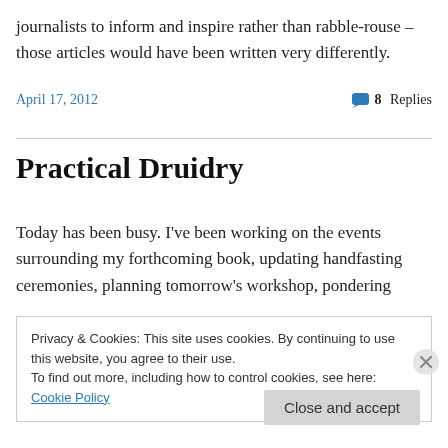journalists to inform and inspire rather than rabble-rouse – those articles would have been written very differently.
April 17, 2012
8 Replies
Practical Druidry
Today has been busy. I've been working on the events surrounding my forthcoming book, updating handfasting ceremonies, planning tomorrow's workshop, pondering
Privacy & Cookies: This site uses cookies. By continuing to use this website, you agree to their use.
To find out more, including how to control cookies, see here: Cookie Policy
Close and accept